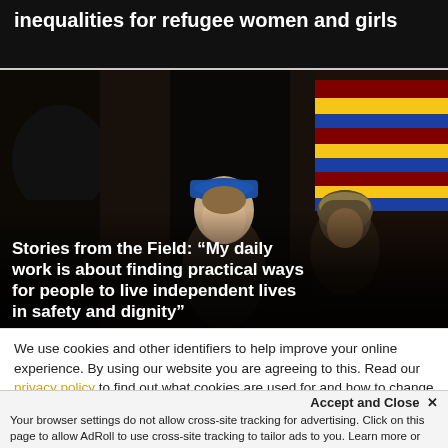COVID-19 pandemic worsening gender inequalities for refugee women and girls
[Figure (photo): A UNHCR worker wearing a blue cap sits inside a dimly lit shelter next to a person wearing a striped head covering, with colorful striped fabric visible in the background.]
Stories from the Field: “My daily work is about finding practical ways for people to live independent lives in safety and dignity”
We use cookies and other identifiers to help improve your online experience. By using our website you are agreeing to this. Read our privacy policy to find out what cookies are used for and how to change your settings.
Accept and Close ×
Your browser settings do not allow cross-site tracking for advertising. Click on this page to allow AdRoll to use cross-site tracking to tailor ads to you. Learn more or opt out of this AdRoll tracking by clicking here. This message only appears once.